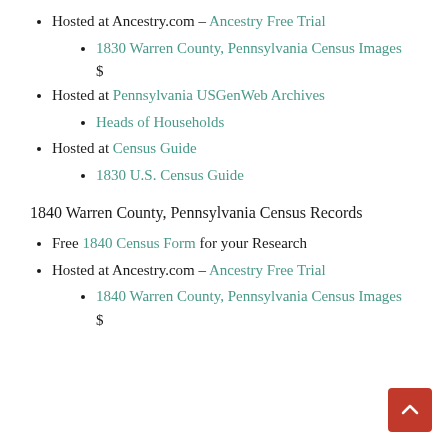Hosted at Ancestry.com – Ancestry Free Trial
1830 Warren County, Pennsylvania Census Images
$
Hosted at Pennsylvania USGenWeb Archives
Heads of Households
Hosted at Census Guide
1830 U.S. Census Guide
1840 Warren County, Pennsylvania Census Records
Free 1840 Census Form for your Research
Hosted at Ancestry.com – Ancestry Free Trial
1840 Warren County, Pennsylvania Census Images
$